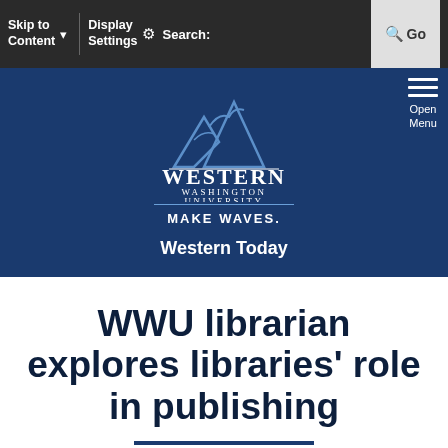Skip to Content  Display Settings  Search:  Go
[Figure (logo): Western Washington University logo with mountain peaks graphic, text: WESTERN WASHINGTON UNIVERSITY, MAKE WAVES.]
Open Menu
Western Today
WWU librarian explores libraries' role in publishing